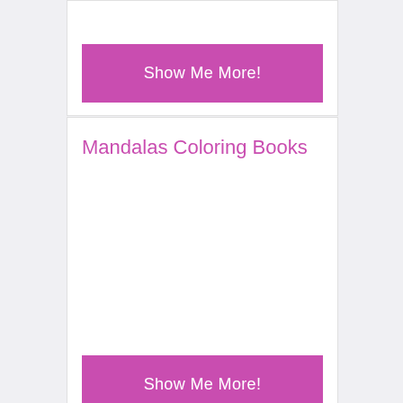[Figure (screenshot): Top card with a pink 'Show Me More!' button, partially visible at top of page]
Show Me More!
Mandalas Coloring Books
[Figure (screenshot): White content area inside Mandalas Coloring Books card]
Show Me More!